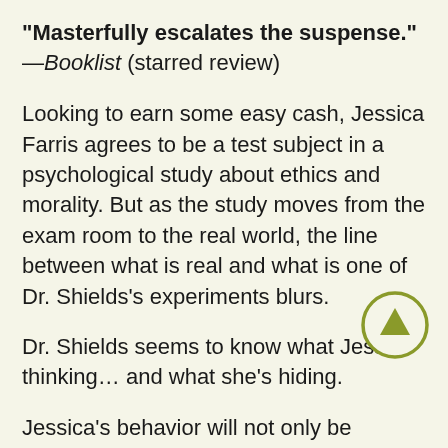“Masterfully escalates the suspense.” —Booklist (starred review)
Looking to earn some easy cash, Jessica Farris agrees to be a test subject in a psychological study about ethics and morality. But as the study moves from the exam room to the real world, the line between what is real and what is one of Dr. Shields’s experiments blurs.
Dr. Shields seems to know what Jess is thinking… and what she’s hiding.
Jessica’s behavior will not only be monitored, but manipulated
[Figure (other): A circular scroll-up button with olive/yellow-green border and an upward arrow icon]